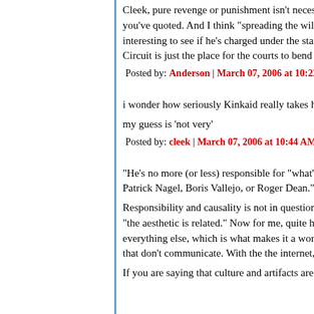Cleek, pure revenge or punishment isn't necessarily what you've quoted. And I think "spreading the will of A... interesting to see if he's charged under the statute... Circuit is just the place for the courts to bend the l...
Posted by: Anderson | March 07, 2006 at 10:22 AM
i wonder how seriously Kinkaid really takes his 'a...
my guess is 'not very'
Posted by: cleek | March 07, 2006 at 10:44 AM
"He's no more (or less) responsible for "what's wr... Patrick Nagel, Boris Vallejo, or Roger Dean."
Responsibility and causality is not in question, for... "the aesthetic is related." Now for me, quite hones... everything else, which is what makes it a world, ir... that don't communicate. With the the internet, tha...
If you are saying that culture and artifacts are unr...